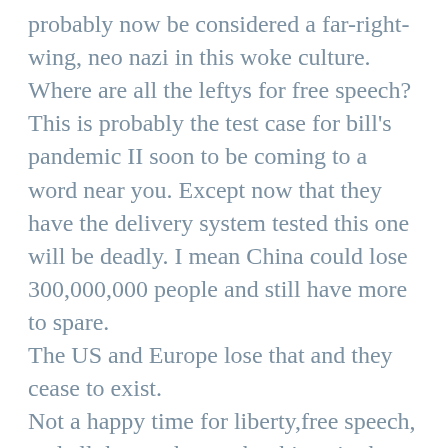probably now be considered a far-right-wing, neo nazi in this woke culture. Where are all the leftys for free speech?
This is probably the test case for bill's pandemic II soon to be coming to a word near you. Except now that they have the delivery system tested this one will be deadly. I mean China could lose 300,000,000 people and still have more to spare.
The US and Europe lose that and they cease to exist.
Not a happy time for liberty,free speech, and all those other pesky things in the bill of rights.